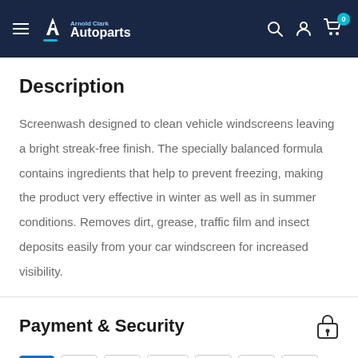[Figure (logo): Arnold Clark Autoparts logo on dark navy header with hamburger menu, search, account and cart icons]
Description
Screenwash designed to clean vehicle windscreens leaving a bright streak-free finish. The specially balanced formula contains ingredients that help to prevent freezing, making the product very effective in winter as well as in summer conditions. Removes dirt, grease, traffic film and insect deposits easily from your car windscreen for increased visibility.
Payment & Security
[Figure (other): Payment method icons: Amex, Apple Pay, Diners, Discover, Google Pay, Mastercard, Mastercard]